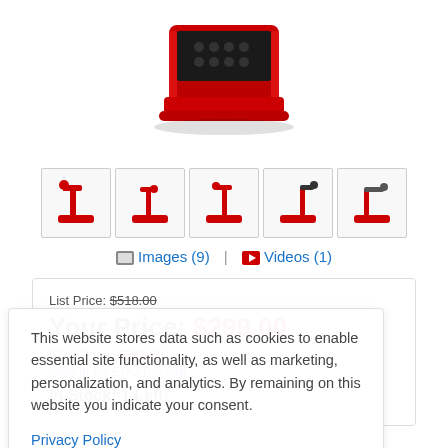[Figure (photo): Product image of a red and black document camera/visualizer device viewed from above]
[Figure (photo): Row of 5 thumbnail images showing the document camera in different positions/angles]
Images (9) | Videos (1)
List Price: $518.00
Your Price: $299.00
EDU Price: $299.00
Sign-in for EDU Pricing!
In Stock: 1 Left!
This website stores data such as cookies to enable essential site functionality, as well as marketing, personalization, and analytics. By remaining on this website you indicate your consent.
Privacy Policy
✓ Free shipping over $99